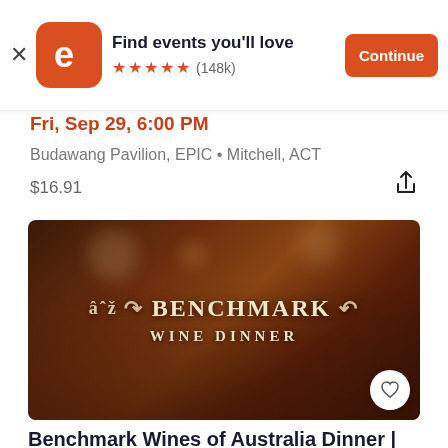[Figure (screenshot): Eventbrite app banner with logo, 'Find events you'll love', 5 star rating (148k), and Continue button]
Fri, Sep 29, 6:00 PM
Budawang Pavilion, EPIC • Mitchell, ACT
$16.91
[Figure (photo): Benchmark Wine Dinner promotional image showing wine glasses being clinked with overlay text 'BENCHMARK WINE DINNER']
Benchmark Wines of Australia Dinner |